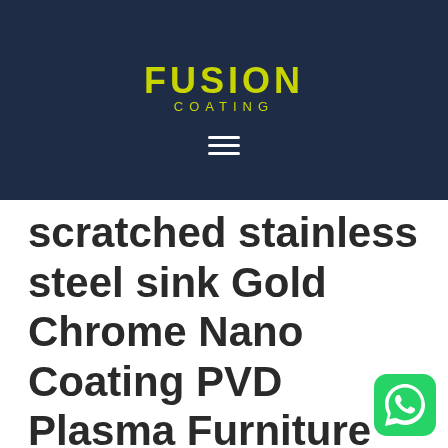FUSION COATING
scratched stainless steel sink Gold Chrome Nano Coating PVD Plasma Furniture Cutlery Hardware Surgical Coating
[Figure (logo): WhatsApp button icon, green rounded square with white phone/chat icon]